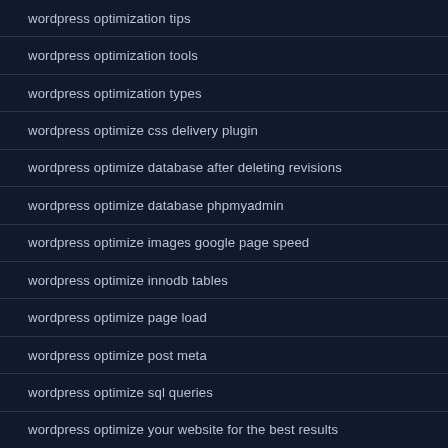wordpress optimization tips
wordpress optimization tools
wordpress optimization types
wordpress optimize css delivery plugin
wordpress optimize database after deleting revisions
wordpress optimize database phpmyadmin
wordpress optimize images google page speed
wordpress optimize innodb tables
wordpress optimize page load
wordpress optimize post meta
wordpress optimize sql queries
wordpress optimize your website for the best results